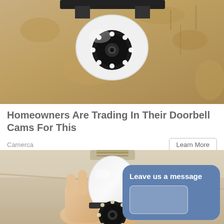[Figure (photo): A wall-mounted camera disguised as a light bulb fixture, mounted on a rough stone or stucco wall, viewed from below. The camera has multiple LED lights visible on the lens housing and a black mounting bracket.]
Homeowners Are Trading In Their Doorbell Cams For This
Camerca
Learn More
[Figure (photo): A hand holding a white bulb-shaped security camera with a rotating head and LED ring around the lens. The camera screws into a standard light bulb socket. A blue chat widget overlay reads 'Leave us a message' with an input box.]